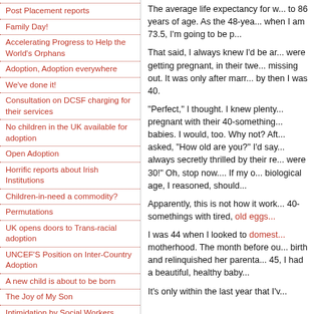Post Placement reports
Family Day!
Accelerating Progress to Help the World's Orphans
Adoption, Adoption everywhere
We've done it!
Consultation on DCSF charging for their services
No children in the UK available for adoption
Open Adoption
Horrific reports about Irish Institutions
Children-in-need a commodity?
Permutations
UK opens doors to Trans-racial adoption
UNCEF'S Position on Inter-Country Adoption
A new child is about to be born
The Joy of My Son
Intimidation by Social Workers
Winner
Look closely
Flavors of Injustice and Flavors of...
The average life expectancy for w... to 86 years of age. As the 48-yea... when I am 73.5, I'm going to be p...
That said, I always knew I'd be ar... were getting pregnant, in their twe... missing out. It was only after marr... by then I was 40.
"Perfect," I thought. I knew plenty... pregnant with their 40-something... babies. I would, too. Why not? Aft... asked, "How old are you?" I'd say... always secretly thrilled by their re... were 30!" Oh, stop now.... If my o... biological age, I reasoned, should...
Apparently, this is not how it work... 40-somethings with tired, old eggs...
I was 44 when I looked to domest... motherhood. The month before ou... birth and relinquished her parenta... 45, I had a beautiful, healthy baby...
It's only within the last year that I'v...